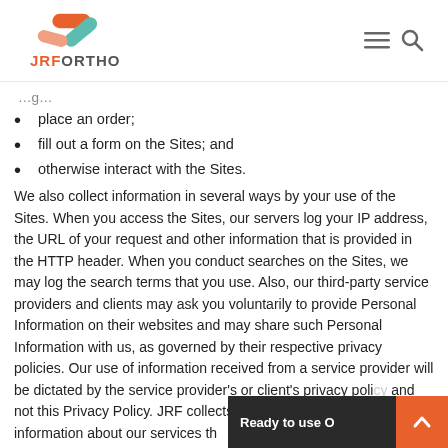JRF ORTHO logo and navigation
…place an order;
place an order;
fill out a form on the Sites; and
otherwise interact with the Sites.
We also collect information in several ways by your use of the Sites. When you access the Sites, our servers log your IP address, the URL of your request and other information that is provided in the HTTP header. When you conduct searches on the Sites, we may log the search terms that you use. Also, our third-party service providers and clients may ask you voluntarily to provide Personal Information on their websites and may share such Personal Information with us, as governed by their respective privacy policies. Our use of information received from a service provider will be dictated by the service provider's or client's privacy policy and not this Privacy Policy. JRF collects t… provide information about our services th… expectations of our clients.